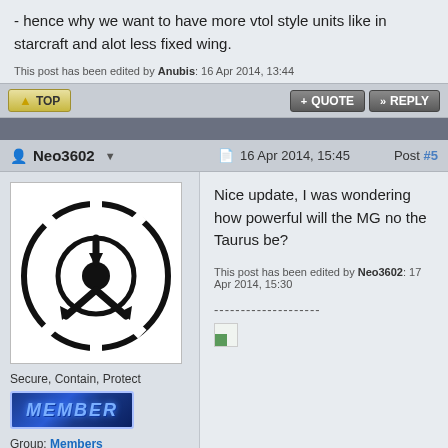- hence why we want to have more vtol style units like in starcraft and alot less fixed wing.
This post has been edited by Anubis: 16 Apr 2014, 13:44
TOP | + QUOTE | » REPLY
Neo3602  |  16 Apr 2014, 15:45  Post #5
[Figure (logo): SCP Foundation logo - black circle with arrows symbol on white background]
Secure, Contain, Protect
[Figure (illustration): MEMBER badge with blue metallic styling]
Group: Members
Posts: 467
Nice update, I was wondering how powerful will the MG no the Taurus be?
This post has been edited by Neo3602: 17 Apr 2014, 15:30
--------------------
[Figure (illustration): Small broken image icon with green triangle]